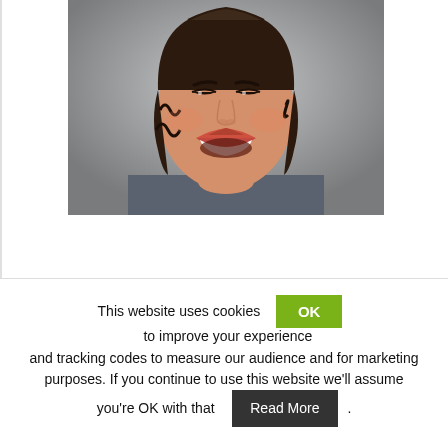[Figure (photo): Headshot of a smiling woman with curly brown hair, wearing a grey top and orange beaded necklace, on a grey background.]
This website uses cookies OK to improve your experience and tracking codes to measure our audience and for marketing purposes. If you continue to use this website we'll assume you're OK with that Read More.